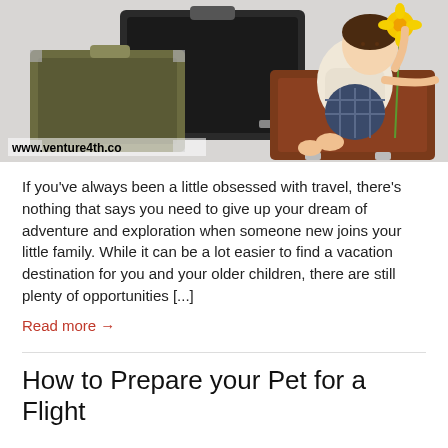[Figure (photo): A toddler sitting on vintage suitcases holding a yellow flower, surrounded by old luggage. Watermark: www.venture4th.co]
If you've always been a little obsessed with travel, there's nothing that says you need to give up your dream of adventure and exploration when someone new joins your little family. While it can be a lot easier to find a vacation destination for you and your older children, there are still plenty of opportunities [...]
Read more →
How to Prepare your Pet for a Flight